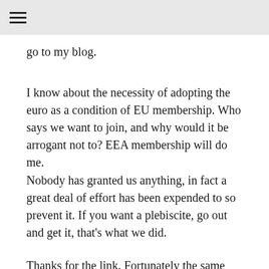☰
go to my blog.
I know about the necessity of adopting the euro as a condition of EU membership. Who says we want to join, and why would it be arrogant not to? EEA membership will do me.
Nobody has granted us anything, in fact a great deal of effort has been expended to so prevent it. If you want a plebiscite, go out and get it, that's what we did.
Thanks for the link. Fortunately the same spirit that produced that illustrious list still exists – that's why we won't have to rely just on mineral resource for our future income.